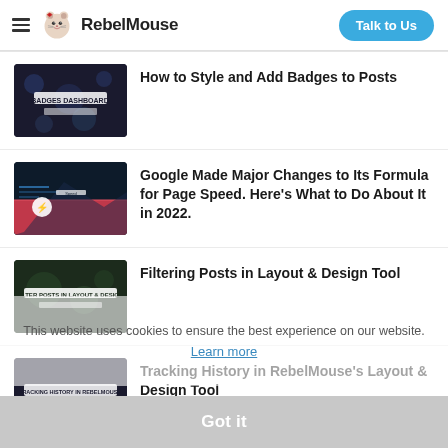RebelMouse — Talk to Us
How to Style and Add Badges to Posts
Google Made Major Changes to Its Formula for Page Speed. Here's What to Do About It in 2022.
Filtering Posts in Layout & Design Tool
Tracking History in RebelMouse's Layout & Design Tool
Sections Dashboard: An Overview to Stay Organized
This website uses cookies to ensure the best experience on our website. Learn more
Got it